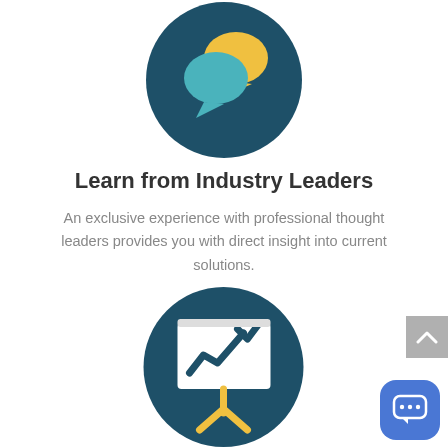[Figure (illustration): Dark teal circle with two speech bubble icons: a teal chat bubble and a yellow/gold chat bubble overlapping, representing communication or discussion with industry leaders.]
Learn from Industry Leaders
An exclusive experience with professional thought leaders provides you with direct insight into current solutions.
[Figure (illustration): Dark teal circle with a presentation board/easel icon showing a line chart with a checkmark, and yellow/gold easel legs, representing analytics or business insights.]
[Figure (illustration): Blue rounded square button in lower right corner with three chat dots icon (ellipsis in speech bubble), representing a chat or messaging widget.]